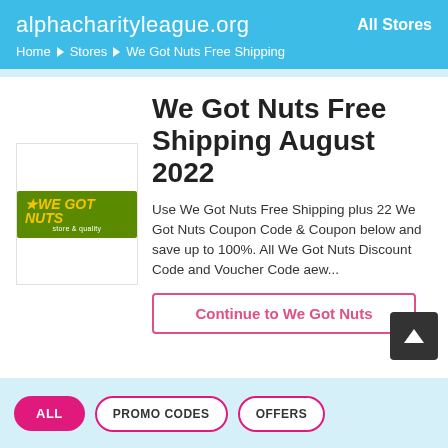alphacharityleague.org — All Stores
Home > Stores > We Got Nuts Free Shipping
We Got Nuts Free Shipping August 2022
[Figure (logo): We Got Nuts store logo on green background with yellow italic text]
Use We Got Nuts Free Shipping plus 22 We Got Nuts Coupon Code & Coupon below and save up to 100%. All We Got Nuts Discount Code and Voucher Code aew...
Continue to We Got Nuts
ALL   PROMO CODES   OFFERS